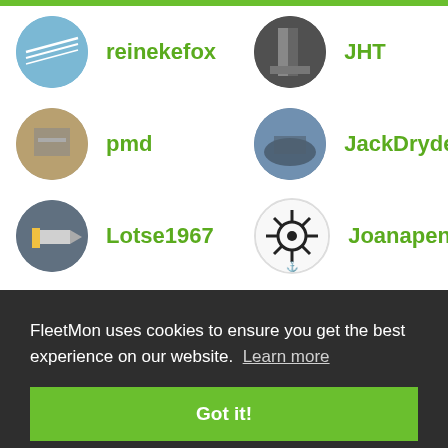reinekefox
JHT
pmd
JackDryden
Lotse1967
Joanapen
haroship
Hinkebein
bassheiner
ulmmomo
FleetMon uses cookies to ensure you get the best experience on our website. Learn more
Got it!